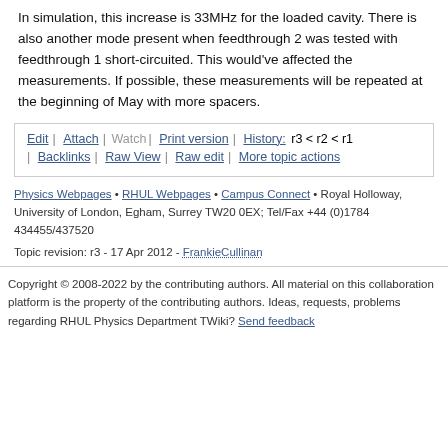In simulation, this increase is 33MHz for the loaded cavity. There is also another mode present when feedthrough 2 was tested with feedthrough 1 short-circuited. This would've affected the measurements. If possible, these measurements will be repeated at the beginning of May with more spacers.
Edit | Attach | Watch | Print version | History: r3 < r2 < r1 | Backlinks | Raw View | Raw edit | More topic actions
Physics Webpages • RHUL Webpages • Campus Connect • Royal Holloway, University of London, Egham, Surrey TW20 0EX; Tel/Fax +44 (0)1784 434455/437520
Topic revision: r3 - 17 Apr 2012 - FrankieCullinan
Copyright © 2008-2022 by the contributing authors. All material on this collaboration platform is the property of the contributing authors. Ideas, requests, problems regarding RHUL Physics Department TWiki? Send feedback